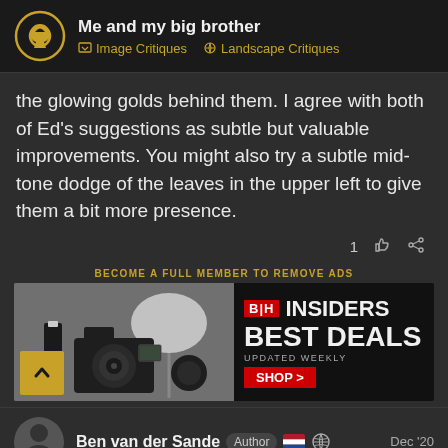Me and my big brother — Image Critiques · Landscape Critiques
the glowing golds behind them. I agree with both of Ed's suggestions as subtle but valuable improvements. You might also try a subtle mid-tone dodge of the leaves in the upper left to give them a bit more presence.
1 👍 🔗
BECOME A FULL MEMBER TO REMOVE ADS
[Figure (screenshot): B&H Insiders Best Deals advertisement banner with camera equipment on the left and 'B&H INSIDERS BEST DEALS UPDATED WEEKLY SHOP >' on the right]
Ben van der Sande Author Dec '20